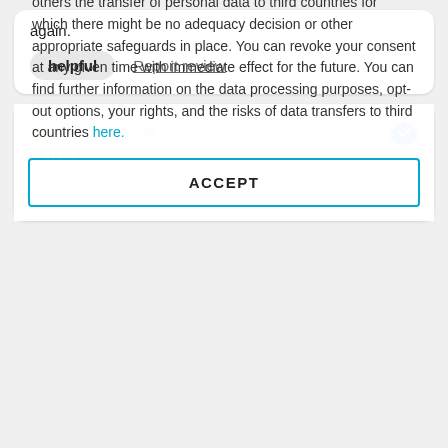again.
helpful   Report review
[Figure (other): 1-star rating out of 5, with verified badge icon]
24 Mar 2022
The card will lovely but the sendong and postage were
By clicking "accept", you explicitly agree in the use of cookies, third-party cookies included, as well as in the data processing associated with the use of cookies. This may include among others the transfer of personal data to third countries for which there might be no adequacy decision or other appropriate safeguards in place. You can revoke your consent at any given time with immediate effect for the future. You can find further information on the data processing purposes, opt-out options, your rights, and the risks of data transfers to third countries here.
ACCEPT